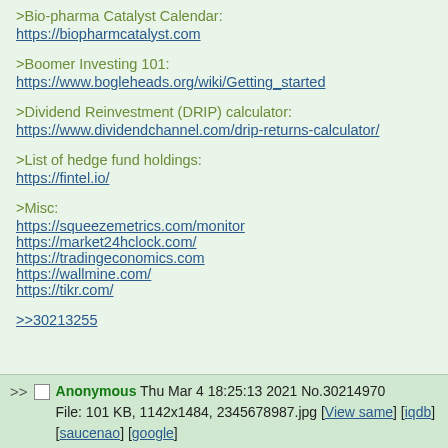>Bio-pharma Catalyst Calendar:
https://biopharmcatalyst.com
>Boomer Investing 101:
https://www.bogleheads.org/wiki/Getting_started
>Dividend Reinvestment (DRIP) calculator:
https://www.dividendchannel.com/drip-returns-calculator/
>List of hedge fund holdings:
https://fintel.io/
>Misc:
https://squeezemetrics.com/monitor
https://market24hclock.com/
https://tradingeconomics.com
https://wallmine.com/
https://tikr.com/
>>30213255
>> Anonymous Thu Mar 4 18:25:13 2021 No.30214970
File: 101 KB, 1142x1484, 2345678987.jpg [View same] [iqdb]
[saucenao] [google]